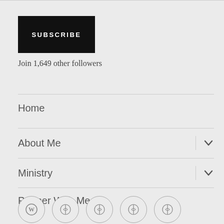SUBSCRIBE
Join 1,649 other followers
Home
About Me
Ministry
Partner With Me
Contact
[Figure (illustration): Row of five circular social media / platform icon buttons at the bottom of the navigation sidebar]